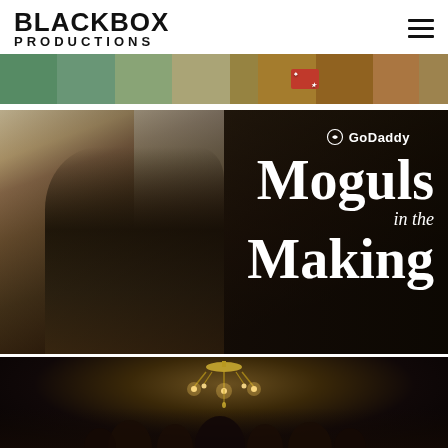[Figure (logo): Black Box Productions logo — bold sans-serif text, two lines: BLACKBOX (large) and PRODUCTIONS (spaced)]
[Figure (photo): Horizontal banner image showing an aerial/street scene, with overlay text: 'Produced by bon appétit with [logo]']
[Figure (photo): Photo of a craftsperson/woodturner working at a lathe in a workshop. Overlaid with GoDaddy logo/badge and title text: 'Moguls in the Making']
[Figure (photo): Dark photo showing a chandelier lit from above and people gathered below in a dark venue]